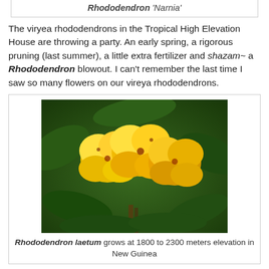Rhododendron 'Narnia'
The viryea rhododendrons in the Tropical High Elevation House are throwing a party. An early spring, a rigorous pruning (last summer), a little extra fertilizer and shazam~ a Rhododendron blowout. I can't remember the last time I saw so many flowers on our vireya rhododendrons.
[Figure (photo): Close-up photograph of bright yellow Rhododendron laetum flowers with green foliage in background]
Rhododendron laetum grows at 1800 to 2300 meters elevation in New Guinea
You are familiar with Rhododendron, of course, a huge genus of over 850 species. More than a third of these belong